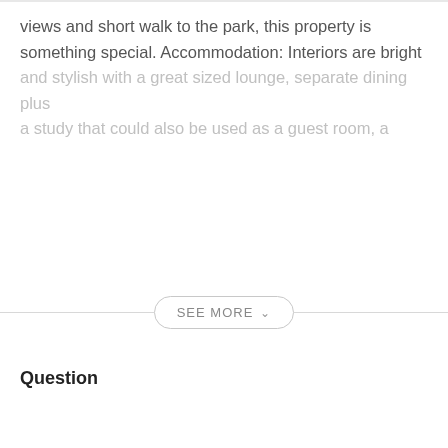views and short walk to the park, this property is something special. Accommodation: Interiors are bright and stylish with a great sized lounge, separate dining plus a study that could also be used as a guest room, a
SEE MORE
Question